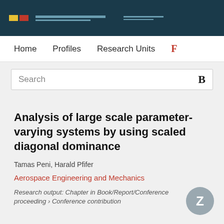[Figure (logo): University/institution logo and header bar with dark teal background, yellow and red squares, and navigation text lines]
Home   Profiles   Research Units   F
Search
Analysis of large scale parameter-varying systems by using scaled diagonal dominance
Tamas Peni, Harald Pfifer
Aerospace Engineering and Mechanics
Research output: Chapter in Book/Report/Conference proceeding › Conference contribution